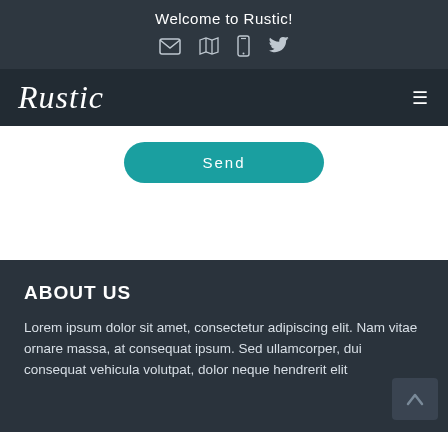Welcome to Rustic!
[Figure (infographic): Top navigation bar icons: envelope, map, phone, twitter bird]
[Figure (logo): Rustic cursive logo and hamburger menu icon in dark nav bar]
[Figure (screenshot): Teal rounded Send button on white background]
ABOUT US
Lorem ipsum dolor sit amet, consectetur adipiscing elit. Nam vitae ornare massa, at consequat ipsum. Sed ullamcorper, dui consequat vehicula volutpat, dolor neque hendrerit elit